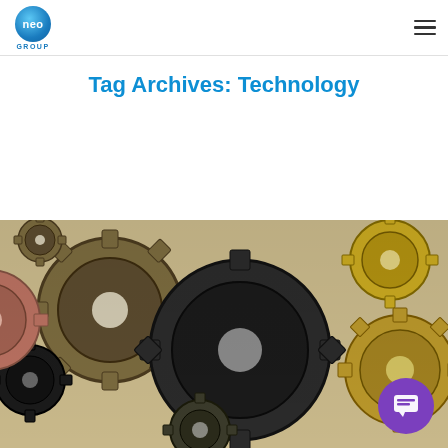[Figure (logo): Neo Group logo: blue circle with 'neo' text and 'GROUP' label below]
Tag Archives: Technology
[Figure (photo): Close-up photo of many interlocking bronze, brass, and dark metal gears of various sizes]